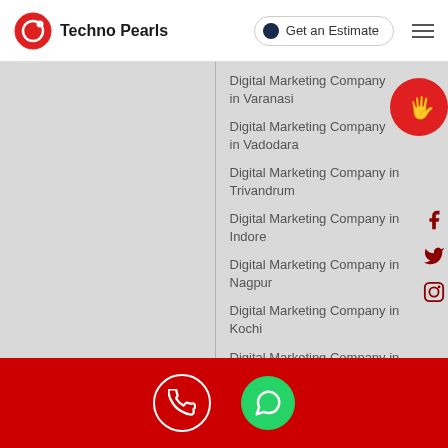Techno Pearls | Get an Estimate
Digital Marketing Company in Varanasi
Digital Marketing Company in Vadodara
Digital Marketing Company in Trivandrum
Digital Marketing Company in Indore
Digital Marketing Company in Nagpur
Digital Marketing Company in Kochi
Digital Marketing Company in Hubli
Digital Marketing Services in Mysore
Digital Marketing Company in Visakhapatnam
Web Application Development